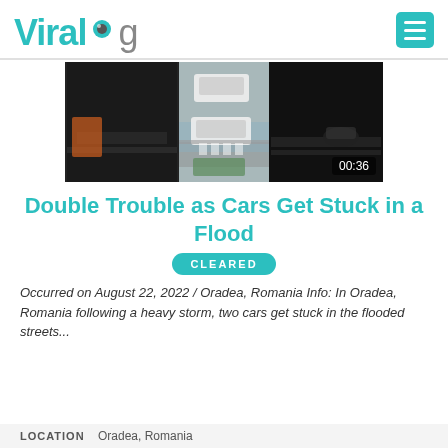ViralHog
[Figure (screenshot): Video thumbnail showing three panels: left dark panel, middle panel with flooded street and cars stuck in water, right dark panel. Timer badge shows 00:36.]
Double Trouble as Cars Get Stuck in a Flood
CLEARED
Occurred on August 22, 2022 / Oradea, Romania Info: In Oradea, Romania following a heavy storm, two cars get stuck in the flooded streets...
LOCATION   Oradea, Romania